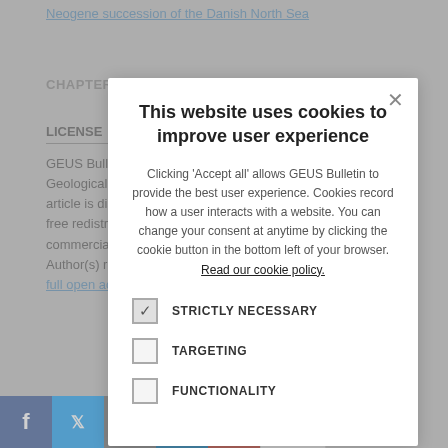Neogene succession of the Danish North Sea
CHAPTERS
LICENSE
GEUS Bulletin is your open access journal published by the Geological Survey of Denmark and Greenland (GEUS). This article is distributed under a CC-BY 4.0 licence, permitting free redistribution and reproduction for any purpose, even commercial, provided proper citation of the original work. Author(s) retain copyright over the article contents. Read the full open access policy.
[Figure (screenshot): Cookie consent modal dialog overlay with title 'This website uses cookies to improve user experience', description text, and checkboxes for STRICTLY NECESSARY, TARGETING, and FUNCTIONALITY]
[Figure (infographic): Social sharing bar with Facebook, Twitter, email, LinkedIn, and plus buttons, and a count badge showing 0]